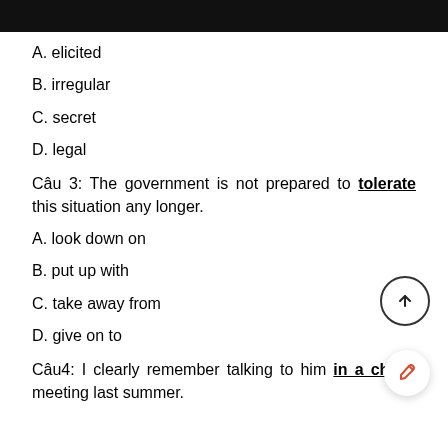A. elicited
B. irregular
C. secret
D. legal
Câu 3: The government is not prepared to tolerate this situation any longer.
A. look down on
B. put up with
C. take away from
D. give on to
Câu4: I clearly remember talking to him in a chance meeting last summer.